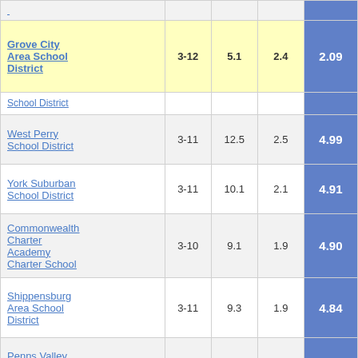| School District | Grades | Col3 | Col4 | Score |
| --- | --- | --- | --- | --- |
| (partial top row) |  |  |  |  |
| Grove City Area School District | 3-12 | 5.1 | 2.4 | 2.09 |
| School District (partial) |  |  |  |  |
| West Perry School District | 3-11 | 12.5 | 2.5 | 4.99 |
| York Suburban School District | 3-11 | 10.1 | 2.1 | 4.91 |
| Commonwealth Charter Academy Charter School | 3-10 | 9.1 | 1.9 | 4.90 |
| Shippensburg Area School District | 3-11 | 9.3 | 1.9 | 4.84 |
| Penns Valley Area School District | 3-12 | 14.0 | 2.9 | 4.80 |
| Fort Leboeuf (partial) |  |  |  |  |